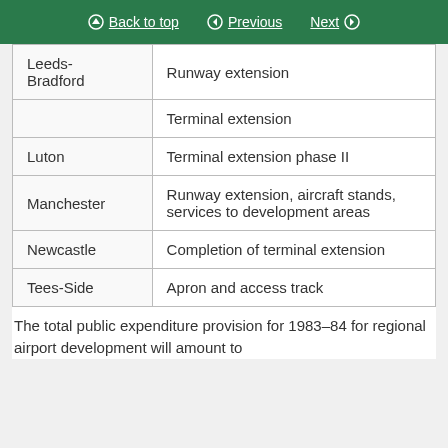Back to top | Previous | Next
| Airport | Development |
| --- | --- |
| Leeds-Bradford | Runway extension |
|  | Terminal extension |
| Luton | Terminal extension phase II |
| Manchester | Runway extension, aircraft stands, services to development areas |
| Newcastle | Completion of terminal extension |
| Tees-Side | Apron and access track |
The total public expenditure provision for 1983–84 for regional airport development will amount to